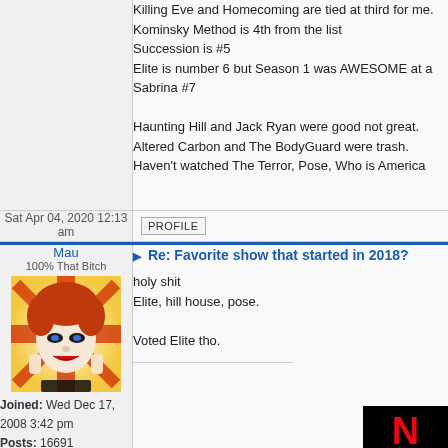Killing Eve and Homecoming are tied at third for me. Kominsky Method is 4th from the list. Succession is #5. Elite is number 6 but Season 1 was AWESOME at a. Sabrina #7. Haunting Hill and Jack Ryan were good not great. Altered Carbon and The BodyGuard were trash. Haven't watched The Terror, Pose, Who is America
Sat Apr 04, 2020 12:13 am
PROFILE
Mau
100% That Bitch
[Figure (photo): Avatar photo of a drag queen with red hair, dramatic makeup, white face, black eye makeup, wearing a black lace outfit, posing with hands near face against a red and white starburst background]
Joined: Wed Dec 17, 2008 3:42 pm
Posts: 16691
Location: Monterrey, Mexico
Re: Favorite show that started in 2018?
holy shit
Elite, hill house, pose.

Voted Elite tho.
[Figure (screenshot): Netflix advertisement showing the Netflix N logo in red on black background with a neon purple camera/film icon below]